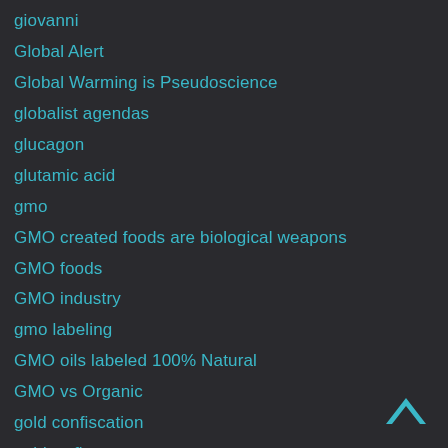giovanni
Global Alert
Global Warming is Pseudoscience
globalist agendas
glucagon
glutamic acid
gmo
GMO created foods are biological weapons
GMO foods
GMO industry
gmo labeling
GMO oils labeled 100% Natural
GMO vs Organic
gold confiscation
gold vs fiat
[Figure (other): Back to top chevron arrow icon in teal/blue color]